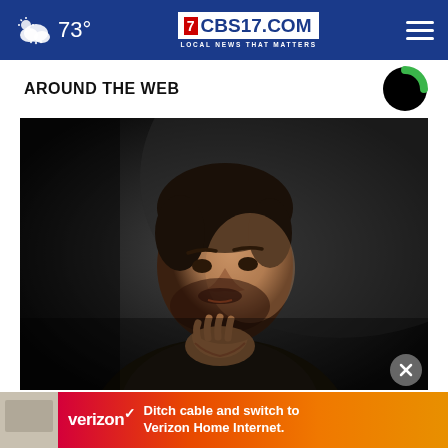73° CBS17.COM LOCAL NEWS THAT MATTERS
AROUND THE WEB
[Figure (photo): Portrait photo of Volodymyr Zelensky, sitting with his chin resting on his fist, wearing a dark jacket, looking pensive against a dark background]
Zelensky: Russian troops at 'dead end'
[Figure (infographic): Verizon advertisement banner: 'Ditch cable and switch to Verizon Home Internet.']